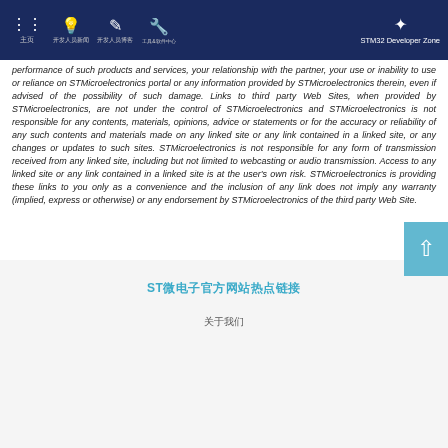Navigation bar with STM32 Developer Zone
performance of such products and services, your relationship with the partner, your use or inability to use or reliance on STMicroelectronics portal or any information provided by STMicroelectronics therein, even if advised of the possibility of such damage. Links to third party Web Sites, when provided by STMicroelectronics, are not under the control of STMicroelectronics and STMicroelectronics is not responsible for any contents, materials, opinions, advice or statements or for the accuracy or reliability of any such contents and materials made on any linked site or any link contained in a linked site, or any changes or updates to such sites. STMicroelectronics is not responsible for any form of transmission received from any linked site, including but not limited to webcasting or audio transmission. Access to any linked site or any link contained in a linked site is at the user's own risk. STMicroelectronics is providing these links to you only as a convenience and the inclusion of any link does not imply any warranty (implied, express or otherwise) or any endorsement by STMicroelectronics of the third party Web Site.
ST品牌徽标及版权信息 关于我们